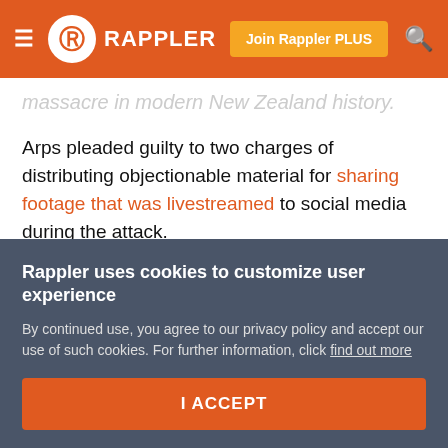≡ Rappler | Join Rappler PLUS 🔍
massacre in modern New Zealand history.
Arps pleaded guilty to two charges of distributing objectionable material for sharing footage that was livestreamed to social media during the attack.
Christchurch District Court heard Arps distributed the raw footage to about 30 people and had another version that was modified to include crosshairs and a "kill count", the New Zealand Herald reported.
Rappler uses cookies to customize user experience
By continued use, you agree to our privacy policy and accept our use of such cookies. For further information, click find out more
I ACCEPT